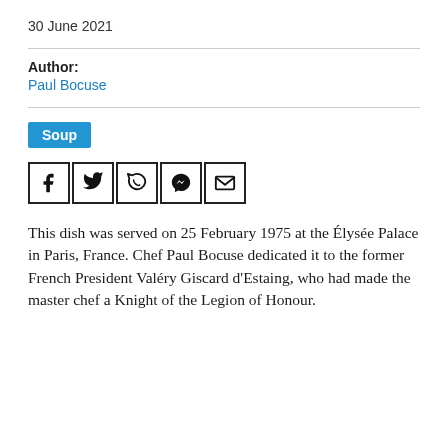30 June 2021
Author:
Paul Bocuse
Soup
[Figure (other): Social sharing icons: Facebook, Twitter, WhatsApp, Messenger, Email]
This dish was served on 25 February 1975 at the Élysée Palace in Paris, France. Chef Paul Bocuse dedicated it to the former French President Valéry Giscard d'Estaing, who had made the master chef a Knight of the Legion of Honour.